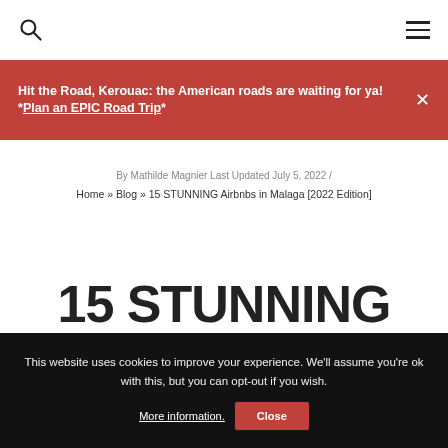[Search icon] [Hamburger menu icon]
Hit the Road, Kerouac: the American roads are waiting for ya! *Plan an EPIC Road Trip* ×
By Mathilde Magnier Last Updated July 5, 2022 /
Home » Blog » 15 STUNNING Airbnbs in Malaga [2022 Edition]
15 STUNNING
This website uses cookies to improve your experience. We'll assume you're ok with this, but you can opt-out if you wish. More information. Close